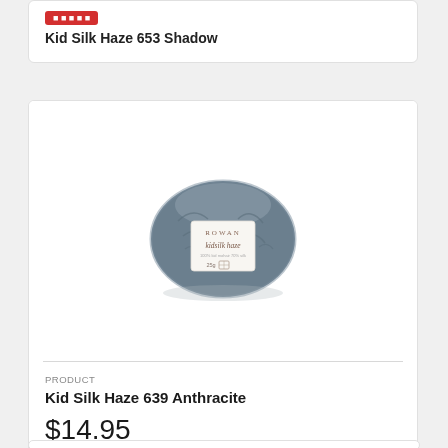Kid Silk Haze 653 Shadow
[Figure (photo): A ball of Rowan Kidsilk Haze yarn in dark blue-grey (anthracite color) with a white label reading 'ROWAN kidsilk haze 25g']
PRODUCT
Kid Silk Haze 639 Anthracite
$14.95